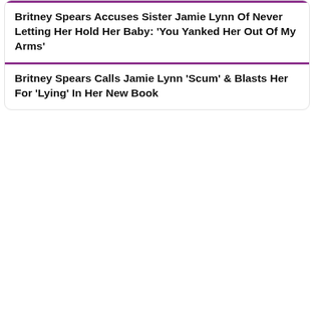Britney Spears Accuses Sister Jamie Lynn Of Never Letting Her Hold Her Baby: 'You Yanked Her Out Of My Arms'
Britney Spears Calls Jamie Lynn 'Scum' & Blasts Her For 'Lying' In Her New Book